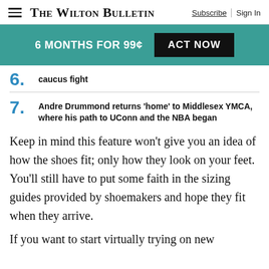The Wilton Bulletin | Subscribe | Sign In
[Figure (infographic): Promotional banner: 6 MONTHS FOR 99¢ with ACT NOW button, teal background]
caucus fight
7. Andre Drummond returns 'home' to Middlesex YMCA, where his path to UConn and the NBA began
Keep in mind this feature won't give you an idea of how the shoes fit; only how they look on your feet. You'll still have to put some faith in the sizing guides provided by shoemakers and hope they fit when they arrive.
If you want to start virtually trying on new